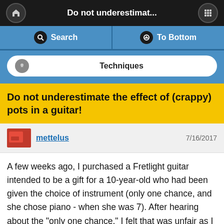Do not underestimat...
Search
To Bottom
Techniques
Do not underestimate the effect of (crappy) pots in a guitar!
mettelus   7/16/2017
A few weeks ago, I purchased a Fretlight guitar intended to be a gift for a 10-year-old who had been given the choice of instrument (only one chance, and she chose piano - when she was 7). After hearing about the "only one chance," I felt that was unfair as I played piano as a child and ended up hating the instrument. On paper, the Fretlight has some nice selling points, so after researching them, I picked up the Orianthi Limited Edition model for $399. I chose this because the pickups are passive, it has a little more